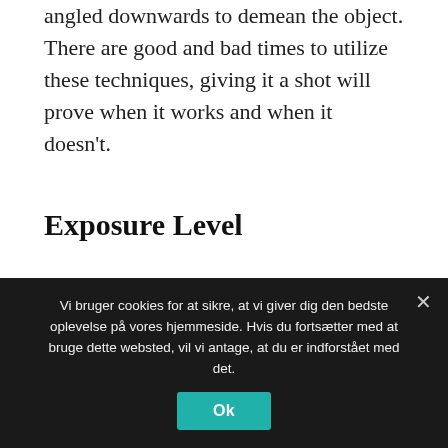angled downwards to demean the object. There are good and bad times to utilize these techniques, giving it a shot will prove when it works and when it doesn't.
Exposure Level
Think of the function of your shot before you take it, and how the picture will eventually be used. For example, some subjects will look better photographed and framed vertically instead of horizontally. While it is possible to change the photo
Vi bruger cookies for at sikre, at vi giver dig den bedste oplevelse på vores hjemmeside. Hvis du fortsætter med at bruge dette websted, vil vi antage, at du er indforstået med det. Ok